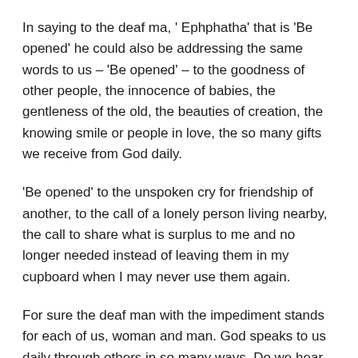In saying to the deaf ma, ' Ephphatha' that is 'Be opened' he could also be addressing the same words to us – 'Be opened' – to the goodness of other people, the innocence of babies, the gentleness of the old, the beauties of creation, the knowing smile or people in love, the so many gifts we receive from God daily.
'Be opened' to the unspoken cry for friendship of another, to the call of a lonely person living nearby, the call to share what is surplus to me and no longer needed instead of leaving them in my cupboard when I may never use them again.
For sure the deaf man with the impediment stands for each of us, woman and man. God speaks to us daily through others in so many ways. Do we hear what he is saying and